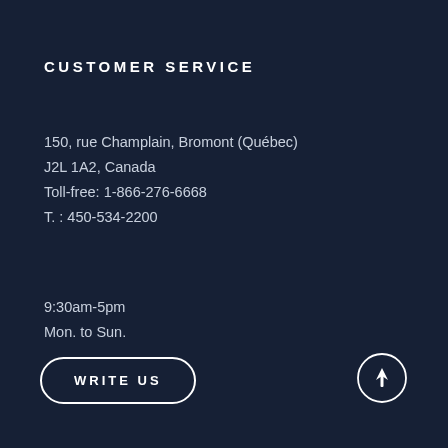CUSTOMER SERVICE
150, rue Champlain, Bromont (Québec)
J2L 1A2, Canada
Toll-free: 1-866-276-6668
T. : 450-534-2200
9:30am-5pm
Mon. to Sun.
WRITE US
[Figure (illustration): Circular scroll-to-top button with upward arrow icon]